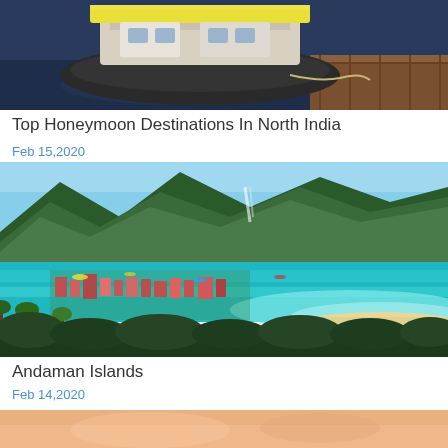[Figure (photo): Boat docked at a wooden pier on dark water, partially visible at top of page]
Top Honeymoon Destinations In North India
Feb 15,2020
[Figure (photo): Aerial view of Andaman Islands showing turquoise water, sandy beach, palm trees, and mountainous green landscape]
Andaman Islands
Feb 14,2020
[Figure (photo): Partial view of a third article image with peach/salmon tones at the bottom of the page]